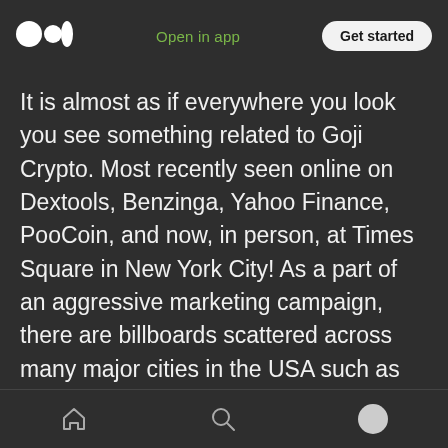Medium logo | Open in app | Get started
It is almost as if everywhere you look you see something related to Goji Crypto. Most recently seen online on Dextools, Benzinga, Yahoo Finance, PooCoin, and now, in person, at Times Square in New York City! As a part of an aggressive marketing campaign, there are billboards scattered across many major cities in the USA such as Atlanta, Chicago, Myrtle Beach, Dallas, Houston, Burlington (NC), San Antonio, and many more! Seeds are being planted and the Goji Crypto team is using its resources to bring more
Home | Search | Profile